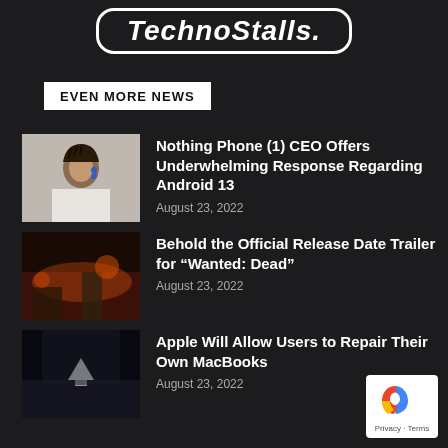TechnoStalls.
EVEN MORE NEWS
[Figure (photo): Portrait of a woman with braided hair and earrings, wearing a white outfit, against a light background.]
Nothing Phone (1) CEO Offers Underwhelming Response Regarding Android 13
August 23, 2022
[Figure (photo): Dark fantasy game art showing armored characters in a fiery scene.]
Behold the Official Release Date Trailer for “Wanted: Dead”
August 23, 2022
[Figure (photo): Close-up of a MacBook lid with Apple logo glowing, dark background.]
Apple Will Allow Users to Repair Their Own MacBooks
August 23, 2022